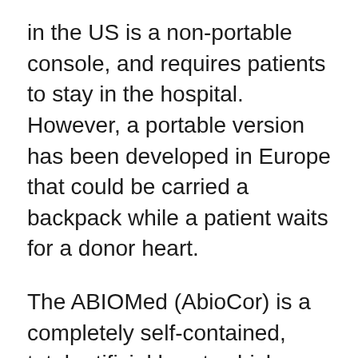in the US is a non-portable console, and requires patients to stay in the hospital. However, a portable version has been developed in Europe that could be carried a backpack while a patient waits for a donor heart.
The ABIOMed (AbioCor) is a completely self-contained, total artificial heart, which avoids the need for an external console or having wires or tubes piercing the skin to power the device. It uses a wireless energy transfer system, also known as a transcutaneous energy transmission system. This decreases the risk of developing infections due to